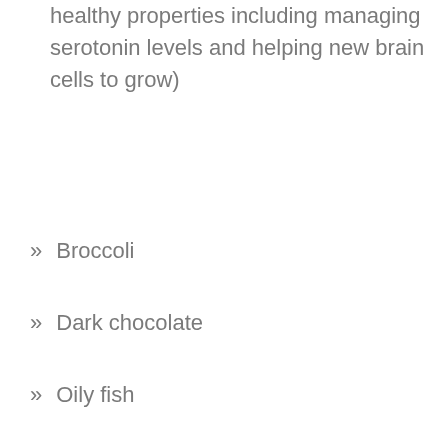healthy properties including managing serotonin levels and helping new brain cells to grow)
Broccoli
Dark chocolate
Oily fish
Eggs
Citrus fruits
Keep eating plenty of these foods and drinking lots of water and you’ll find that you retain a keen mind with a steel trap memory. And hey, if